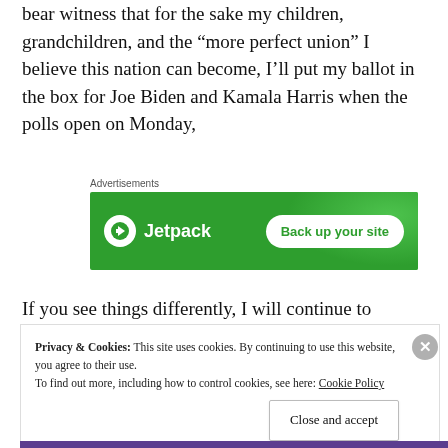bear witness that for the sake my children, grandchildren, and the “more perfect union” I believe this nation can become, I’ll put my ballot in the box for Joe Biden and Kamala Harris when the polls open on Monday,
[Figure (other): Jetpack advertisement banner with green background showing Jetpack logo and 'Back up your site' button]
If you see things differently, I will continue to respect
Privacy & Cookies: This site uses cookies. By continuing to use this website, you agree to their use. To find out more, including how to control cookies, see here: Cookie Policy
Close and accept